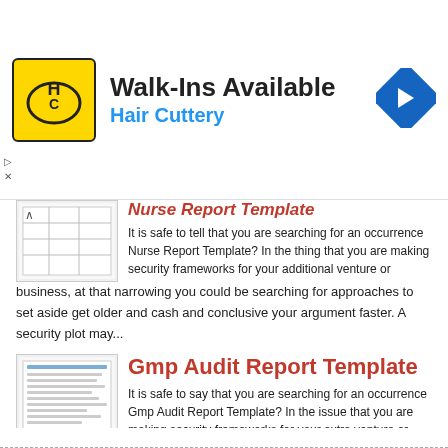[Figure (infographic): Advertisement banner for Hair Cuttery showing logo, Walk-Ins Available text, and navigation icon]
Nurse Report Template
It is safe to tell that you are searching for an occurrence Nurse Report Template? In the thing that you are making security frameworks for your additional venture or business, at that narrowing you could be searching for approaches to set aside get older and cash and conclusive your argument faster. A security plot may...
Gmp Audit Report Template
It is safe to say that you are searching for an occurrence Gmp Audit Report Template? In the issue that you are making security frameworks for your extra venture or business, at that point you could be searching for approaches to set aside times and cash and unadulterated your excitement faster. A security plot may...